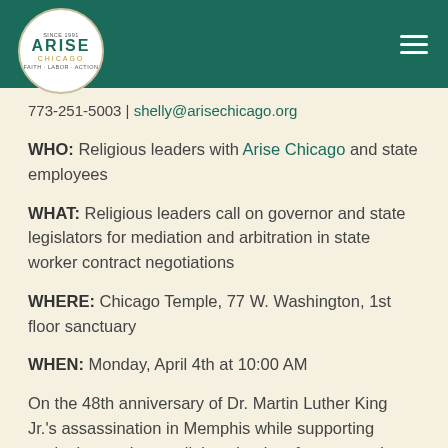[Figure (logo): Arise Chicago circular logo with teal text on white background, placed on teal header bar]
773-251-5003 | shelly@arisechicago.org
WHO: Religious leaders with Arise Chicago and state employees
WHAT: Religious leaders call on governor and state legislators for mediation and arbitration in state worker contract negotiations
WHERE: Chicago Temple, 77 W. Washington, 1st floor sanctuary
WHEN: Monday, April 4th at 10:00 AM
On the 48th anniversary of Dr. Martin Luther King Jr.'s assassination in Memphis while supporting sanitation workers, religious leaders from around Chicagoland will join with state employees to release